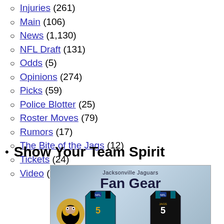Injuries (261)
Main (106)
News (1,130)
NFL Draft (131)
Odds (5)
Opinions (274)
Picks (59)
Police Blotter (25)
Roster Moves (79)
Rumors (17)
The Bite of the Jags (12)
Tickets (24)
Video (74)
Show Your Team Spirit
[Figure (illustration): Jacksonville Jaguars Fan Gear promotional banner showing jerseys and the Jaguars mascot logo]